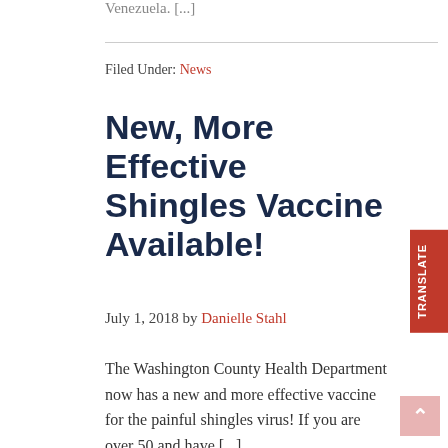Venezuela. [...]
Filed Under: News
New, More Effective Shingles Vaccine Available!
July 1, 2018 by Danielle Stahl
The Washington County Health Department now has a new and more effective vaccine for the painful shingles virus! If you are over 50 and have [...]